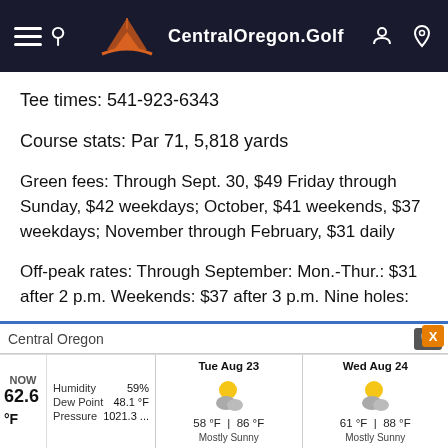CentralOregon.Golf — navigation header bar
Tee times: 541-923-6343
Course stats: Par 71, 5,818 yards
Green fees: Through Sept. 30, $49 Friday through Sunday, $42 weekdays; October, $41 weekends, $37 weekdays; November through February, $31 daily
Off-peak rates: Through September: Mon.-Thur.: $31 after 2 p.m. Weekends: $37 after 3 p.m. Nine holes:
[Figure (screenshot): Weather widget showing current conditions in Central Oregon. NOW 62.6°F, Humidity 59%, Dew Point 48.1°F, Pressure 1021.3... Tue Aug 23: 58°F / 86°F, Mostly Sunny. Wed Aug 24: 61°F / 88°F, Mostly Sunny.]